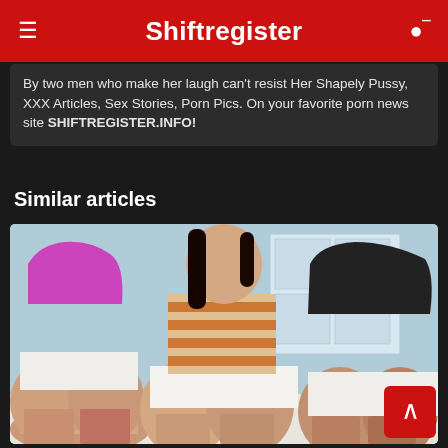Shiftregister
By two men who make her laugh can't resist Her Shapely Pussy, XXX Articles, Sex Stories, Porn Pics. On your favorite porn news site SHIFTREGISTER.INFO!
Similar articles
[Figure (photo): Three women in revealing clothing showing their backsides, standing near a building exterior with large windows]
Lindic And Big Ass Porno Sex With Girls From The Country 2019
View the xxx porn article: Lindic And Big Ass Porno Sex With Girls From The Country 2019